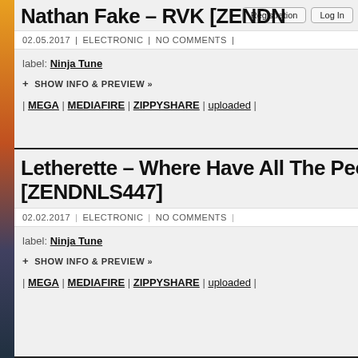Nathan Fake – RVK [ZENDN…
02.05.2017 | ELECTRONIC | NO COMMENTS |
label: Ninja Tune
+ SHOW INFO & PREVIEW »
| MEGA | MEDIAFIRE | ZIPPYSHARE | uploaded |
Letherette – Where Have All The People Gon… [ZENDNLS447]
02.02.2017 | ELECTRONIC | NO COMMENTS |
label: Ninja Tune
+ SHOW INFO & PREVIEW »
| MEGA | MEDIAFIRE | ZIPPYSHARE | uploaded |